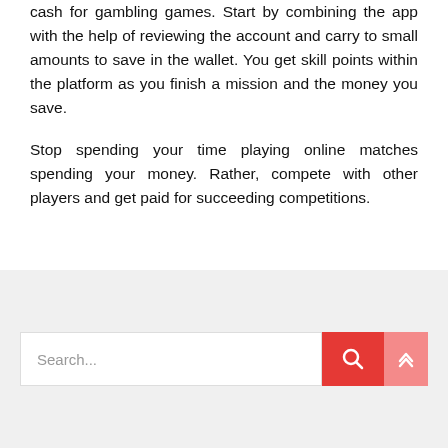cash for gambling games. Start by combining the app with the help of reviewing the account and carry to small amounts to save in the wallet. You get skill points within the platform as you finish a mission and the money you save.
Stop spending your time playing online matches spending your money. Rather, compete with other players and get paid for succeeding competitions.